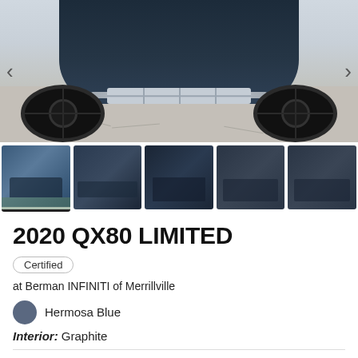[Figure (photo): Front top-down view of a 2020 INFINITI QX80 LIMITED SUV in dark blue/navy color, showing the front grille, hood, and large dark alloy wheels, parked on a cracked asphalt surface. Navigation arrows on left and right sides.]
[Figure (photo): Thumbnail strip of 5 car photos: front 3/4 view, side view, rear hatch open, rear view, and rear 3/4 view of the dark blue QX80. First thumbnail is selected/active.]
2020 QX80 LIMITED
Certified
at Berman INFINITI of Merrillville
Hermosa Blue
Interior: Graphite
Buy your next car 100% online. Get instant upfront pricing on